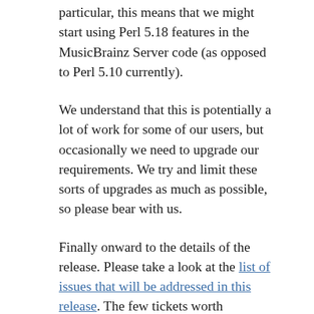particular, this means that we might start using Perl 5.18 features in the MusicBrainz Server code (as opposed to Perl 5.10 currently).
We understand that this is potentially a lot of work for some of our users, but occasionally we need to upgrade our requirements. We try and limit these sorts of upgrades as much as possible, so please bear with us.
Finally onward to the details of the release. Please take a look at the list of issues that will be addressed in this release. The few tickets worth discussing in details are:
MBS-8838 – “Add gids to all *_type tables”.